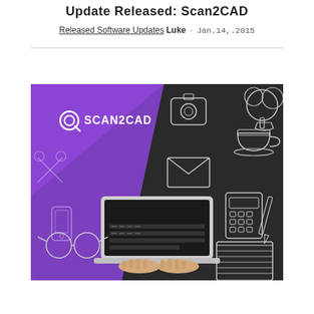Update Released: Scan2CAD
Released Software Updates Luke · Jan.14,.2015
[Figure (photo): Scan2CAD promotional banner image showing a person's hands typing on a laptop keyboard, with chalk-drawn icons (camera, envelope, calculator, coffee cup, notepad, glasses) on a dark background. The left portion has a purple/violet diagonal band with the Scan2CAD logo (white Q-like icon and 'SCAN2CAD' text).]